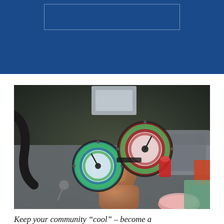[Figure (photo): A technician's hands holding an HVAC manifold gauge set with two circular pressure gauges (one blue, one red/green), used for refrigerant service, resting on a grey surface inside a vehicle or equipment panel.]
Keep your community “cool” – become a